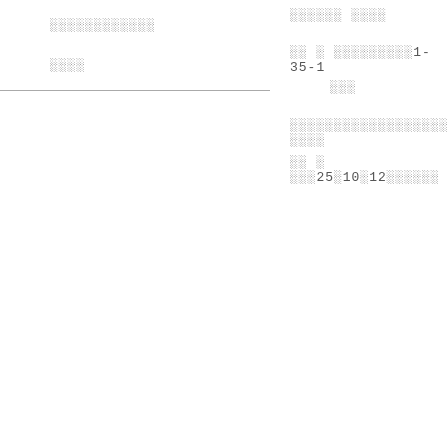░░░░░░░░░░░░
░░░░
░░░░░░ ░░░░
░░ ░ ░░░░░░░░░1-35-1
░░░
░░░░░░░░░░░░░░░░░░ ░░░░
░░ ░ ░░░25░10░12░░░░░░